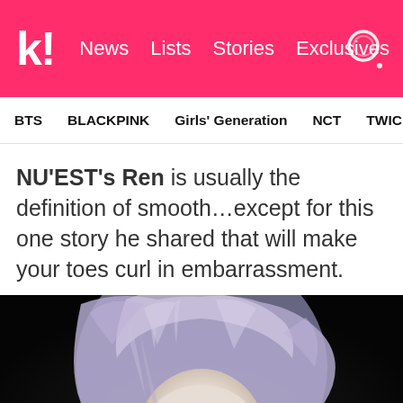k! News  Lists  Stories  Exclusives
BTS  BLACKPINK  Girls' Generation  NCT  TWICE  aespa
NU'EST's Ren is usually the definition of smooth…except for this one story he shared that will make your toes curl in embarrassment.
[Figure (photo): Close-up portrait of NU'EST's Ren with silver-lavender hair against a dark background]